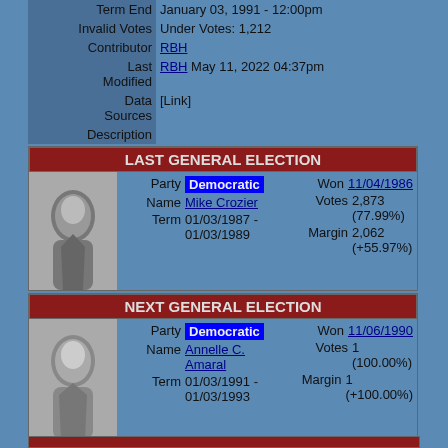| Field | Value |
| --- | --- |
| Term End | January 03, 1991 - 12:00pm |
| Invalid Votes | Under Votes: 1,212 |
| Contributor | RBH |
| Last Modified | RBH May 11, 2022 04:37pm |
| Data Sources | [Link] |
| Description |  |
LAST GENERAL ELECTION
| Party | Won | Name | Votes | Term | Margin |
| --- | --- | --- | --- | --- | --- |
| Democratic | 11/04/1986 | Mike Crozier | 2,873 (77.99%) | 01/03/1987 - 01/03/1989 | 2,062 (+55.97%) |
NEXT GENERAL ELECTION
| Party | Won | Name | Votes | Term | Margin |
| --- | --- | --- | --- | --- | --- |
| Democratic | 11/06/1990 | Annelle C. Amaral | 1 (100.00%) | 01/03/1991 - 01/03/1993 | 1 (+100.00%) |
PRIMARY/OTHER SCHEDULE
| Date | Event | Name | Votes |
| --- | --- | --- | --- |
| Sep 17, 1988 | HI State House 47 - D Primary | Annelle C. Amaral | 2,331 |